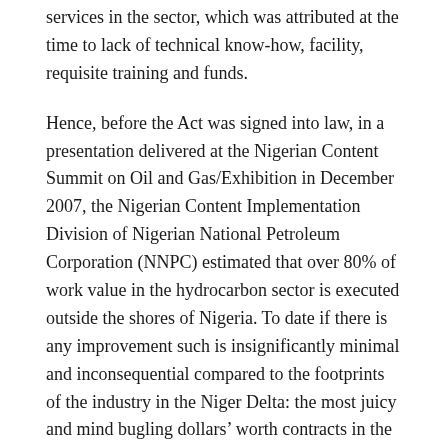services in the sector, which was attributed at the time to lack of technical know-how, facility, requisite training and funds.
Hence, before the Act was signed into law, in a presentation delivered at the Nigerian Content Summit on Oil and Gas/Exhibition in December 2007, the Nigerian Content Implementation Division of Nigerian National Petroleum Corporation (NNPC) estimated that over 80% of work value in the hydrocarbon sector is executed outside the shores of Nigeria. To date if there is any improvement such is insignificantly minimal and inconsequential compared to the footprints of the industry in the Niger Delta: the most juicy and mind bugling dollars’ worth contracts in the oil and gas sector are still the preserve of foreign firms in Nigeria.
There was palpable relieve on indigenous oil and gas